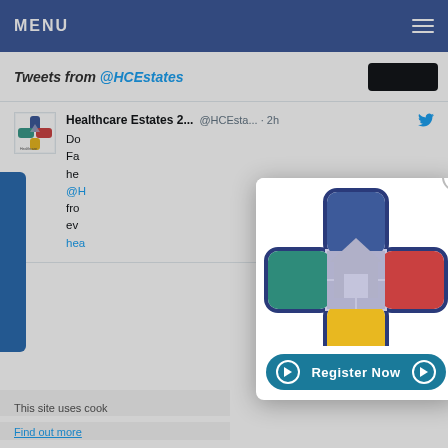MENU
Tweets from @HCEstates
[Figure (screenshot): Tweet card from Healthcare Estates 2... @HCEsta... · 2h with partial text visible and Healthcare Estates logo avatar]
[Figure (logo): Healthcare Estates conference logo — a plus/cross shape divided into colored quadrants: blue (top), teal (left), red/pink (right), yellow (bottom), with a light purple/grey house silhouette in the center, outlined in navy blue. Below the logo is a teal rounded button saying Register Now with play button icons on both sides.]
This site uses cook
Find out more